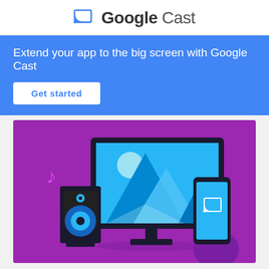Google Cast
Extend your app to the big screen with Google Cast
Get started
[Figure (illustration): Illustration of a TV monitor displaying a landscape scene with mountains and a circle, a speaker on the left with a music note, and a hand holding a smartphone with the Cast icon on screen. Purple/violet background.]